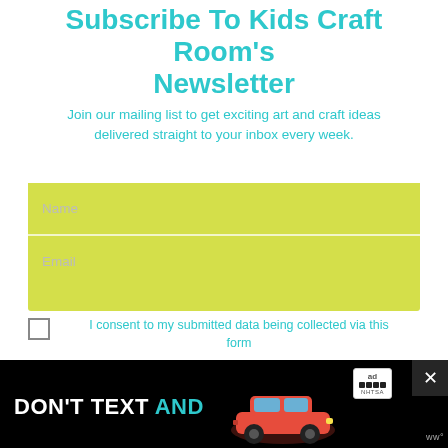Subscribe To Kids Craft Room's Newsletter
Join our mailing list to get exciting art and craft ideas delivered straight to your inbox every week.
[Figure (screenshot): Newsletter signup form with yellow-green background containing Name and Email input fields]
I consent to my submitted data being collected via this form
Sign Up Now
[Figure (other): Loading spinner icon in teal color]
Thanks for connecting with us.
[Figure (infographic): Advertisement banner: DON'T TEXT AND [drive] with red car graphic and NHTSA logo]